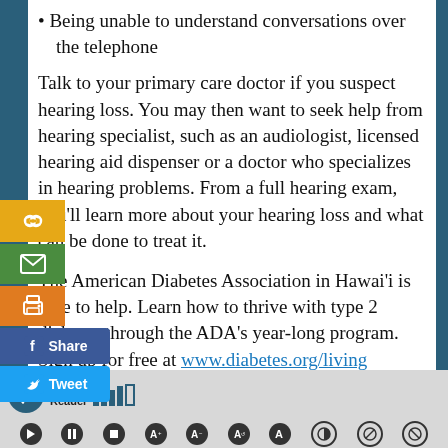Being unable to understand conversations over the telephone
Talk to your primary care doctor if you suspect hearing loss. You may then want to seek help from hearing specialist, such as an audiologist, licensed hearing aid dispenser or a doctor who specializes in hearing problems. From a full hearing exam, you'll learn more about your hearing loss and what can be done to treat it.
The American Diabetes Association in Hawai'i is here to help. Learn how to thrive with type 2 diabetes through the ADA's year-long program. Sign up for free at www.diabetes.org/living